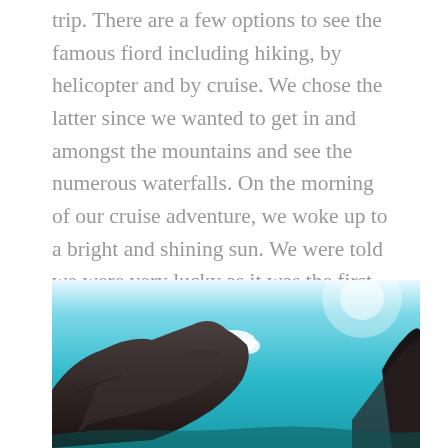trip. There are a few options to see the famous fiord including hiking, by helicopter and by cruise. We chose the latter since we wanted to get in and amongst the mountains and see the numerous waterfalls. On the morning of our cruise adventure, we woke up to a bright and shining sun. We were told we were very lucky as it was the first time in months that the fiord wasn't drenched in rain.
[Figure (photo): Photograph of a rocky mountain outcrop against a bright teal/blue sky with a small cloud visible above the rocks. Dark silhouette of rock formation fills the lower portion.]